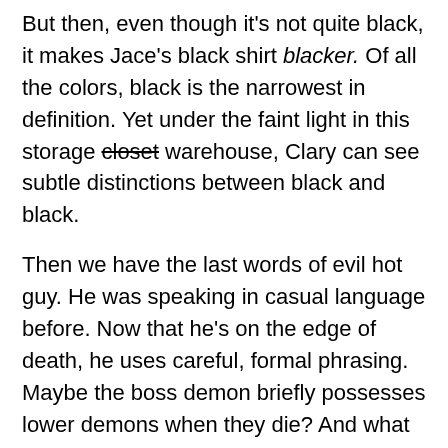But then, even though it's not quite black, it makes Jace's black shirt blacker. Of all the colors, black is the narrowest in definition. Yet under the faint light in this storage closet warehouse, Clary can see subtle distinctions between black and black.
Then we have the last words of evil hot guy. He was speaking in casual language before. Now that he's on the edge of death, he uses careful, formal phrasing. Maybe the boss demon briefly possesses lower demons when they die? And what are the italics for? Clare seems to use italics whenever she thinks her dialogue needs melodrama. But italics or no, his dying threat is laughable, because Clare hasn't made him or any other demon scary enough.